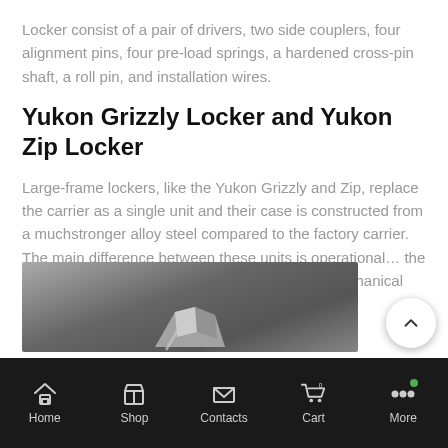Locker consist of a pair of drivers, two side couplers, four alignment pins, four pre-load springs, a hardened cross-pin shaft, a roll pin, and installation wires.
Yukon Grizzly Locker and Yukon Zip Locker
Large-frame lockers, like the Yukon Grizzly and Zip, replace the carrier as a single unit and their case is constructed from a muchstronger alloy steel compared to the factory carrier. The main difference between these units is operational… the Zip Locker is air operated and the Grizzly is a mechanical unit.
[Figure (photo): Partial view of metal locker components on a grey surface]
Home  Shop  Contacts  Cart  More